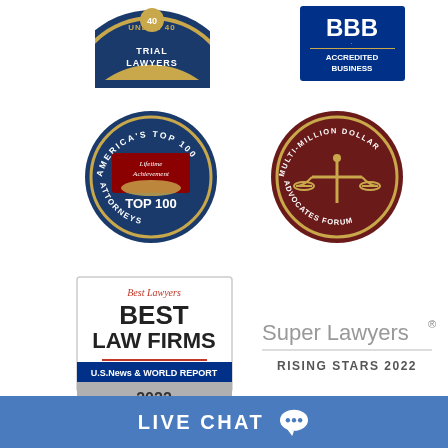[Figure (logo): Under 40 Trial Lawyers circular badge/seal - partially cropped at top]
[Figure (logo): BBB Accredited Business badge - blue rectangular logo]
[Figure (logo): America's Top 100 Attorneys - Lifetime Achievement Top 100 circular blue and red seal]
[Figure (logo): Multi-Million Dollar Advocates Forum circular dark red badge with gold scales of justice]
[Figure (logo): Best Lawyers Best Law Firms - U.S. News & World Report 2022 badge]
[Figure (logo): Super Lawyers Rising Stars 2022 text logo]
[Figure (logo): Partial logo with text TOP LISTED IN and partial firm name]
LIVE CHAT